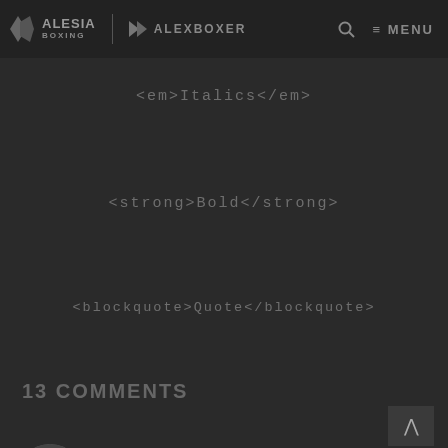ALESIA BOXING | ALEXBOXER
<em>Italics</em>
<strong>Bold</strong>
<blockquote>Quote</blockquote>
13 COMMENTS
MJoe001
JUN. 12, 2022 | 23:04
Alesia, This end result threw me for a loop!! 😵😵😵😵I knew that this would be a tough